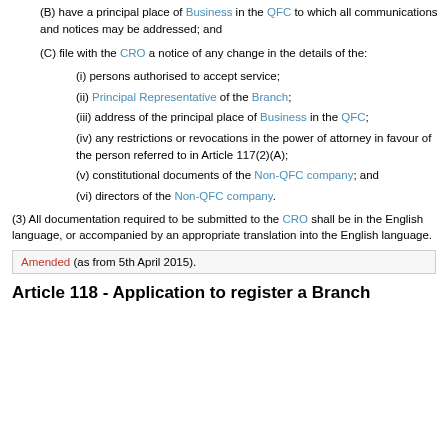(B) have a principal place of Business in the QFC to which all communications and notices may be addressed; and
(C) file with the CRO a notice of any change in the details of the:
(i) persons authorised to accept service;
(ii) Principal Representative of the Branch;
(iii) address of the principal place of Business in the QFC;
(iv) any restrictions or revocations in the power of attorney in favour of the person referred to in Article 117(2)(A);
(v) constitutional documents of the Non-QFC company; and
(vi) directors of the Non-QFC company.
(3) All documentation required to be submitted to the CRO shall be in the English language, or accompanied by an appropriate translation into the English language.
Amended (as from 5th April 2015).
Article 118 - Application to register a Branch